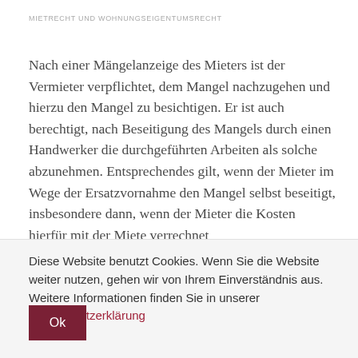MIETRECHT UND WOHNUNGSEIGENTUMSRECHT
Nach einer Mängelanzeige des Mieters ist der Vermieter verpflichtet, dem Mangel nachzugehen und hierzu den Mangel zu besichtigen. Er ist auch berechtigt, nach Beseitigung des Mangels durch einen Handwerker die durchgeführten Arbeiten als solche abzunehmen. Entsprechendes gilt, wenn der Mieter im Wege der Ersatzvornahme den Mangel selbst beseitigt, insbesondere dann, wenn der Mieter die Kosten hierfür mit der Miete verrechnet
Diese Website benutzt Cookies. Wenn Sie die Website weiter nutzen, gehen wir von Ihrem Einverständnis aus. Weitere Informationen finden Sie in unserer Datenschutzerklärung
Ok